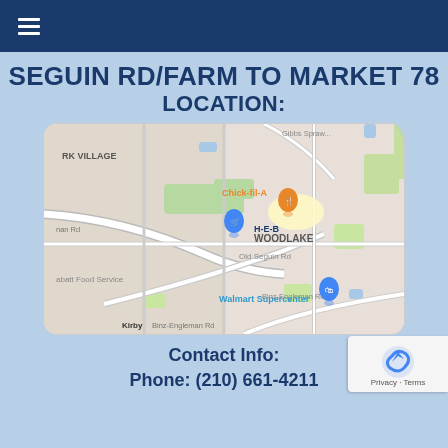≡
SEGUIN RD/FARM TO MARKET 78 LOCATION:
[Figure (map): Google Maps screenshot showing the area near Seguin Rd / Farm to Market 78 in San Antonio, TX. Landmarks visible include Chick-fil-A, H-E-B, Walmart Supercenter, Labatt Food Service, Old Seguin Rd, Binz-Engleman Rd, Gibbs Sprawl, Woodlake neighborhood, RK Village, and Kirby area.]
Contact Info:
Phone: (210) 661-4211